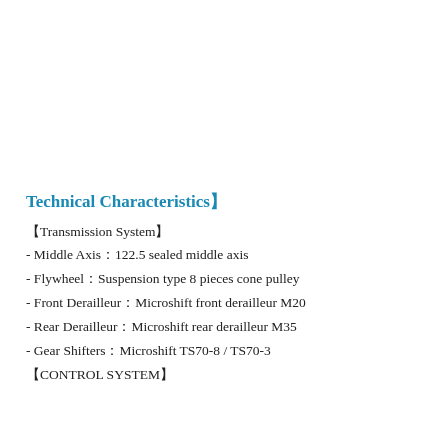Technical Characteristics【
【Transmission System】
- Middle Axis：122.5 sealed middle axis
- Flywheel：Suspension type 8 pieces cone pulley
- Front Derailleur：Microshift front derailleur M20
- Rear Derailleur：Microshift rear derailleur M35
- Gear Shifters：Microshift TS70-8 / TS70-3
【CONTROL SYSTEM】